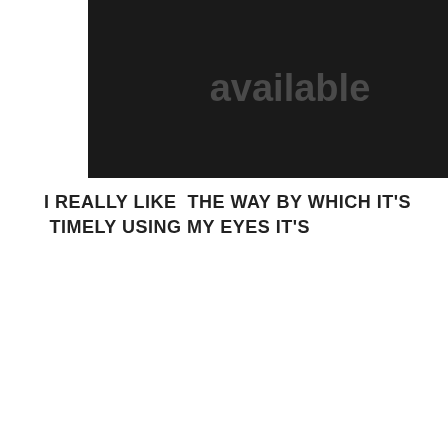[Figure (photo): Dark placeholder image with text 'available' partially visible]
I REALLY LIKE  THE WAY BY WHICH IT'S  TIMELY USING MY EYES IT'S
[Figure (photo): Dark placeholder image with text 'no image' partially visible]